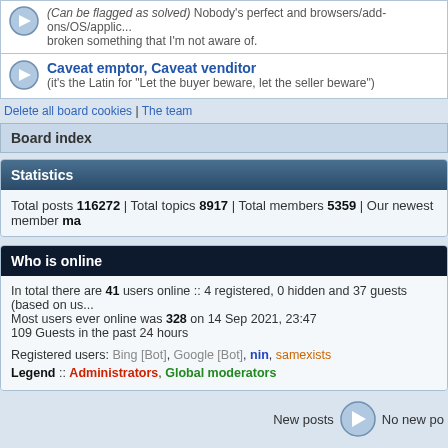(Can be flagged as solved) Nobody's perfect and browsers/add-ons/OS/applications may have broken something that I'm not aware of.
Caveat emptor, Caveat venditor (it's the Latin for "Let the buyer beware, let the seller beware")
Delete all board cookies | The team
Board index
Statistics
Total posts 116272 | Total topics 8917 | Total members 5359 | Our newest member ma
Who is online
In total there are 41 users online :: 4 registered, 0 hidden and 37 guests (based on us...
Most users ever online was 328 on 14 Sep 2021, 23:47
109 Guests in the past 24 hours
Registered users: Bing [Bot], Google [Bot], nin, samexists
Legend :: Administrators, Global moderators
New posts   No new po